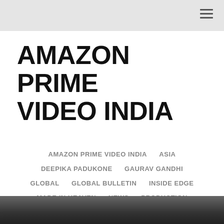AMAZON PRIME VIDEO INDIA
AMAZON PRIME VIDEO INDIA   ASIA   DEEPIKA PADUKONE   GAURAV GANDHI   GLOBAL   GLOBAL BULLETIN   INSIDE EDGE   MADE IN HEAVEN   NEWS   PRODUCTION   TAMIL   VELLA RAJA
[Figure (photo): Dark grayscale photograph at the bottom of the page, partially visible]